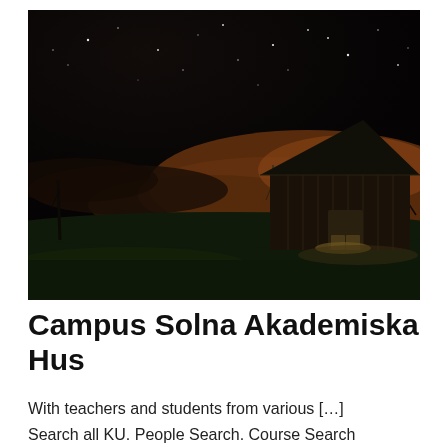[Figure (photo): Night-time photograph of a rustic wooden barn in a field with green grass in the foreground, bare trees on the right, and a dark starry sky with orange-tinted clouds above]
Campus Solna Akademiska Hus
With teachers and students from various […] Search all KU. People Search. Course Search